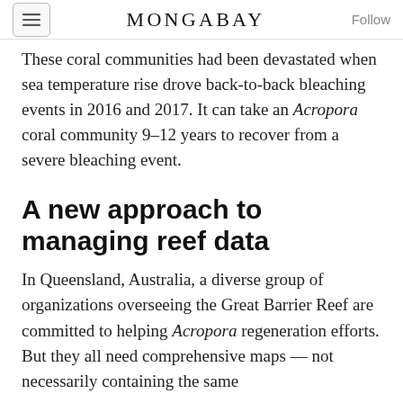MONGABAY
These coral communities had been devastated when sea temperature rise drove back-to-back bleaching events in 2016 and 2017. It can take an Acropora coral community 9–12 years to recover from a severe bleaching event.
A new approach to managing reef data
In Queensland, Australia, a diverse group of organizations overseeing the Great Barrier Reef are committed to helping Acropora regeneration efforts. But they all need comprehensive maps — not necessarily containing the same